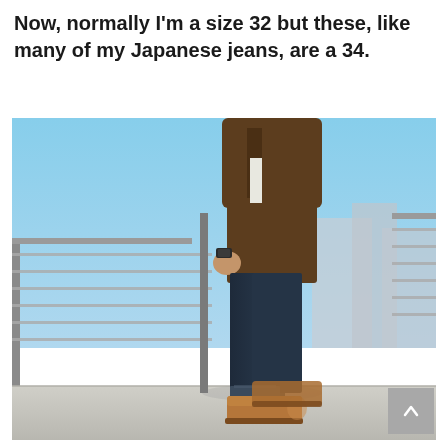Now, normally I'm a size 32 but these, like many of my Japanese jeans, are a 34.
[Figure (photo): Side profile of a person wearing dark navy slim jeans cuffed at the ankle, tan leather boots, and a brown jacket. They are standing on a rooftop or elevated deck with metal railing and urban background.]